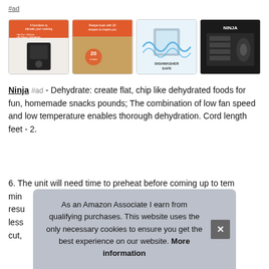#ad
[Figure (photo): Four product images in a horizontal strip: (1) Ninja air fryer with orange banner '4 functions to elevate your cooking' listing Air Fry, Air Roast, Deheat, Dehydrate; (2) Recipe book with 20 recipes orange banner showing chicken wings; (3) Dishwasher safe label with water splash; (4) Ninja branding with hand operating controls.]
Ninja #ad - Dehydrate: create flat, chip like dehydrated foods for fun, homemade snacks pounds; The combination of low fan speed and low temperature enables thorough dehydration. Cord length feet - 2.
6. The unit will need time to preheat before coming up to tem min resu less cut,
As an Amazon Associate I earn from qualifying purchases. This website uses the only necessary cookies to ensure you get the best experience on our website. More information